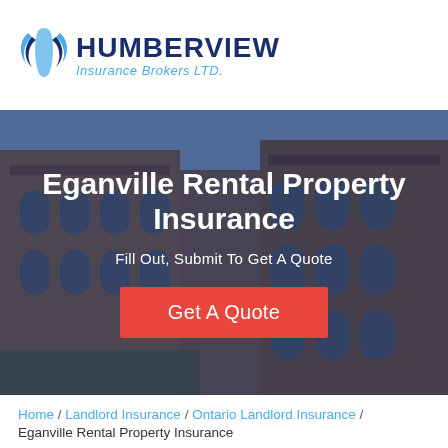[Figure (logo): Humberview Insurance Brokers LTD. logo with stylized icon and text]
[Figure (photo): Hero banner with a photo of historic brick apartment/rental buildings overlaid with a dark blue tint. Contains heading 'Eganville Rental Property Insurance', subtext 'Fill Out, Submit To Get A Quote', and a red 'Get A Quote' button.]
Home / Landlord Insurance / Ontario Landlord Insurance /
Eganville Rental Property Insurance